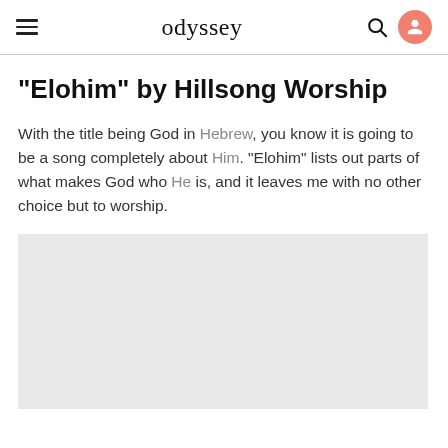odyssey
"Elohim" by Hillsong Worship
With the title being God in Hebrew, you know it is going to be a song completely about Him. "Elohim" lists out parts of what makes God who He is, and it leaves me with no other choice but to worship.
[Figure (photo): Light gray rectangular image placeholder]